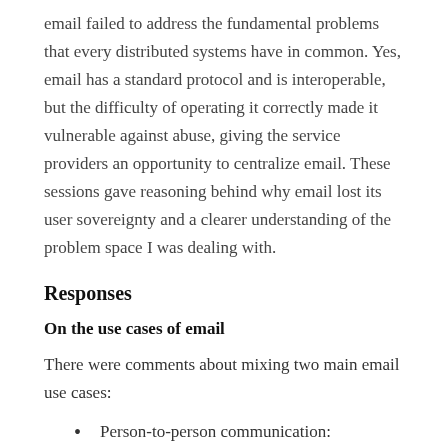email failed to address the fundamental problems that every distributed systems have in common. Yes, email has a standard protocol and is interoperable, but the difficulty of operating it correctly made it vulnerable against abuse, giving the service providers an opportunity to centralize email. These sessions gave reasoning behind why email lost its user sovereignty and a clearer understanding of the problem space I was dealing with.
Responses
On the use cases of email
There were comments about mixing two main email use cases:
Person-to-person communication: Encryption and privacy becomes more important
Unsolicited communication: Veracity of the